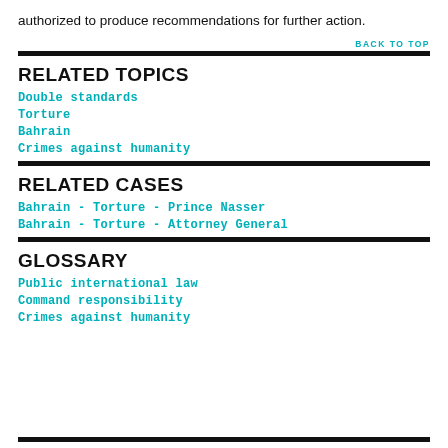authorized to produce recommendations for further action.
BACK TO TOP
RELATED TOPICS
Double standards
Torture
Bahrain
Crimes against humanity
RELATED CASES
Bahrain - Torture - Prince Nasser
Bahrain - Torture - Attorney General
GLOSSARY
Public international law
Command responsibility
Crimes against humanity